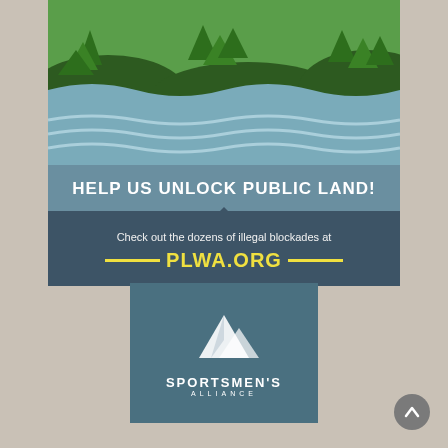[Figure (illustration): Top banner with forest/mountain scene at top, water waves below, text 'HELP US UNLOCK PUBLIC LAND!' in teal section, then dark blue section with 'Check out the dozens of illegal blockades at PLWA.ORG']
[Figure (logo): Sportsmen's Alliance logo: mountain peaks icon above text 'SPORTSMEN'S ALLIANCE' on teal background]
[Figure (other): Grey circular scroll-to-top button with up arrow]